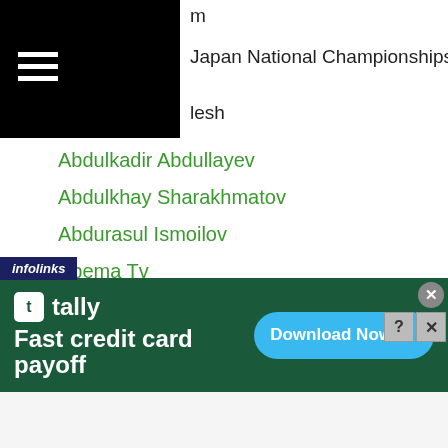m Japan National Championships lesh
Abdulkadir Abdullayev
Abdulkhay Sharakhmatov
Abdurasul Ismoilov
Abema Tv
Abilkhaiyr Shegaliyev
Abilkhan Amankul
Ablaikhan Khussainov
Ablaikhan Zhussupov
Abner Mares
ABS CBN
Accel Sumiyoshi
Adam Diu Abdulhamid
Adilbek Niyazymbetov
[Figure (screenshot): Advertisement banner for Tally app: 'Fast credit card payoff' with Download Now button. Infolinks badge visible.]